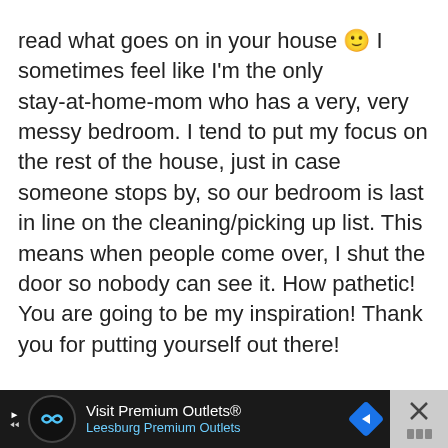read what goes on in your house 🙂 I sometimes feel like I'm the only stay-at-home-mom who has a very, very messy bedroom. I tend to put my focus on the rest of the house, just in case someone stops by, so our bedroom is last in line on the cleaning/picking up list. This means when people come over, I shut the door so nobody can see it. How pathetic! You are going to be my inspiration! Thank you for putting yourself out there!
[Figure (other): Advertisement banner for Visit Premium Outlets / Leesburg Premium Outlets with logo, navigation arrow icon, and close button]